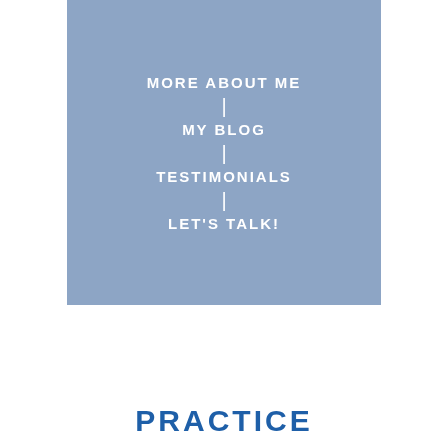[Figure (other): Navigation menu on blue-grey background with items: MORE ABOUT ME, MY BLOG, TESTIMONIALS, LET'S TALK!]
PRACTICE